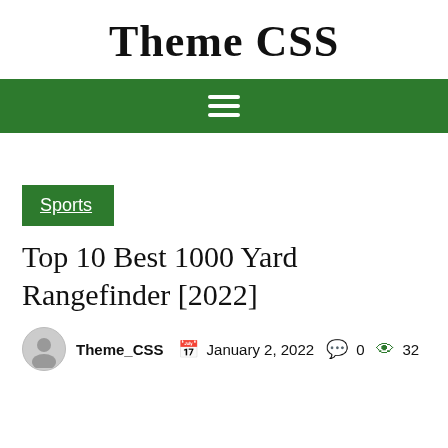Theme CSS
[Figure (other): Green navigation bar with hamburger menu icon (three white horizontal lines)]
Sports
Top 10 Best 1000 Yard Rangefinder [2022]
Theme_CSS   January 2, 2022   0   32